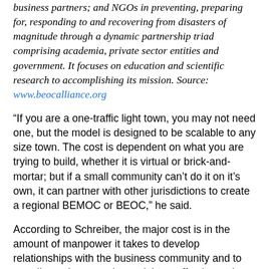business partners; and NGOs in preventing, preparing for, responding to and recovering from disasters of magnitude through a dynamic partnership triad comprising academia, private sector entities and government. It focuses on education and scientific research to accomplishing its mission. Source: www.beocalliance.org
“If you are a one-traffic light town, you may not need one, but the model is designed to be scalable to any size town. The cost is dependent on what you are trying to build, whether it is virtual or brick-and-mortar; but if a small community can’t do it on it’s own, it can partner with other jurisdictions to create a regional BEMOC or BEOC,” he said.
According to Schreiber, the major cost is in the amount of manpower it takes to develop relationships with the business community and to coordinate the operation so it is as effective as it can be. Still, he feels it is the next